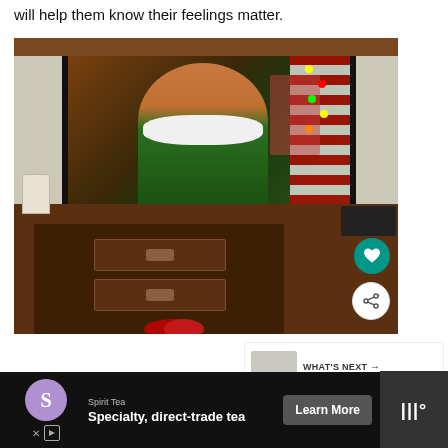will help them know their feelings matter.
[Figure (photo): Photo of a TV on a wooden entertainment stand showing a still from the movie Elf, with a smiling person in a green elf costume and white collar on screen. A garden gnome figurine sits to the left of the TV on the stand. Christmas decorations visible in the background of the on-screen image. A heart button and share button are overlaid on the right side of the image.]
WHAT'S NEXT → 5 Tips for Improving...
Spirit Tea
Specialty, direct-trade tea
Learn More